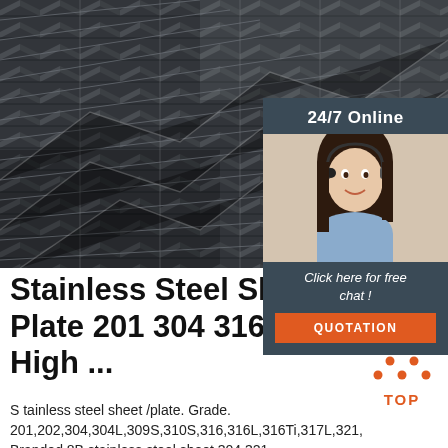[Figure (photo): Stack of stainless steel angle bars photographed from the side, showing repeating V-shaped profiles in dark grey metal]
24/7 Online
[Figure (photo): Customer service agent woman with headset smiling, professional photo]
Click here for free chat !
QUOTATION
Stainless Steel Sheet a Plate 201 304 316 Grade - High ...
S tainless steel sheet /plate. Grade. 201,202,304,304L,309S,310S,316,316L,316Ti,317L,321, Branded 8B stainless steel sheet 304,321...
[Figure (logo): Orange TOP badge with upward arrow/triangle dots above the word TOP in orange letters]